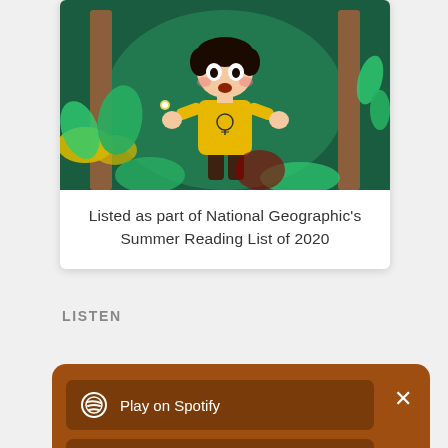[Figure (illustration): Animated illustration of a surprised boy in a yellow t-shirt with a lightbulb icon, standing in a lush green jungle forest with glowing fireflies, surrounded by colorful plants and wooden structures]
Listed as part of National Geographic's Summer Reading List of 2020
LISTEN
[Figure (screenshot): Spotify share panel on brown/orange background with three buttons: Play on Spotify, Follow on Spotify, Copy link to clipboard; X close button top right; scroll-up purple circle button bottom right; Privacy Policy · Terms & Conditions text at bottom]